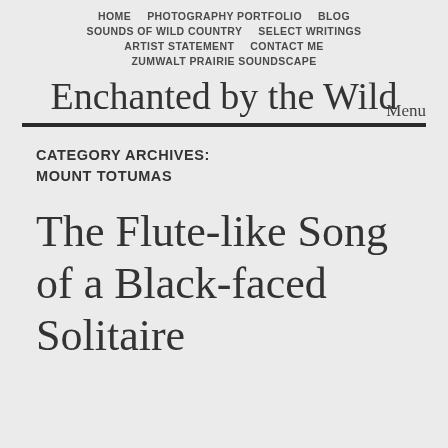HOME   PHOTOGRAPHY PORTFOLIO   BLOG   SOUNDS OF WILD COUNTRY   SELECT WRITINGS   ARTIST STATEMENT   CONTACT ME   ZUMWALT PRAIRIE SOUNDSCAPE
Enchanted by the Wild
Menu
CATEGORY ARCHIVES: MOUNT TOTUMAS
The Flute-like Song of a Black-faced Solitaire